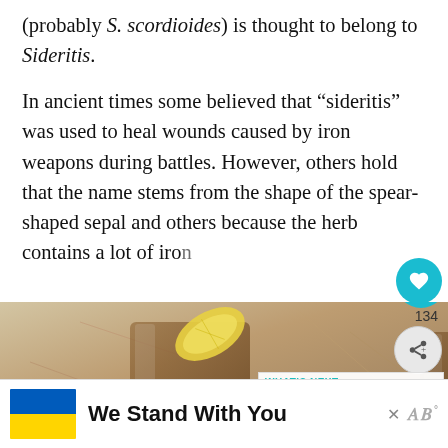(probably S. scordioides) is thought to belong to Sideritis.
In ancient times some believed that “sideritis” was used to heal wounds caused by iron weapons during battles. However, others hold that the name stems from the shape of the spear-shaped sepal and others because the herb contains a lot of iro…
[Figure (photo): Two glasses of iced tea with lemon slices on a rustic background, partially overlaid with social sharing buttons (heart icon with teal background, share button) and a 'What's Next' panel showing a Greek Salad thumbnail.]
[Figure (infographic): Advertisement banner: Ukrainian flag (blue and yellow) on the left, bold text 'We Stand With You', close button X, and a 'W' logo on the right.]